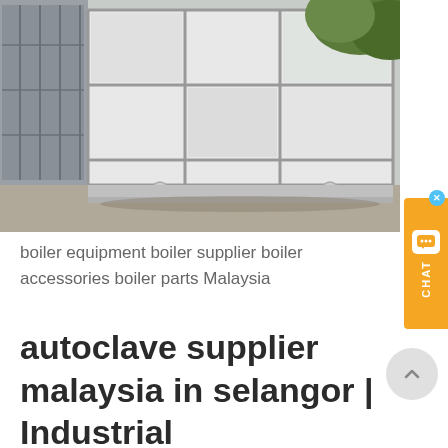[Figure (photo): Industrial autoclave or boiler equipment - a large white rectangular metal tank with grid panel structure, shown outdoors on a concrete surface with greenery in the background]
boiler equipment boiler supplier boiler accessories boiler parts Malaysia
autoclave supplier malaysia in selangor | Industrial